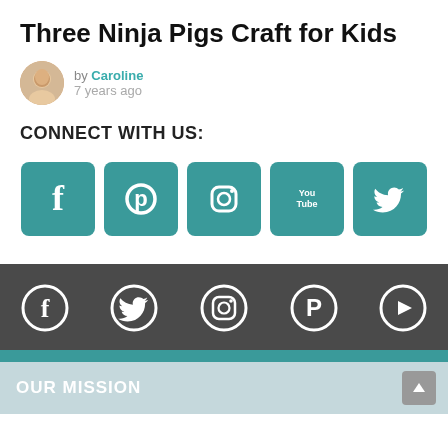Three Ninja Pigs Craft for Kids
by Caroline
7 years ago
CONNECT WITH US:
[Figure (infographic): Five teal square social media buttons: Facebook (f), Pinterest (P), Instagram (camera), YouTube (You Tube), Twitter (bird)]
Footer with dark gray background showing social icons: Facebook, Twitter, Instagram, Pinterest, YouTube
OUR MISSION